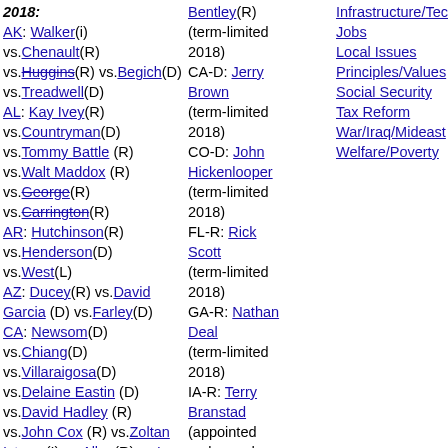2018:
AK: Walker(i) vs.Chenault(R) vs.Huggins(R) vs.Begich(D) vs.Treadwell(D)
AL: Kay Ivey(R) vs.Countryman(D) vs.Tommy Battle (R) vs.Walt Maddox (R) vs.George(R) vs.Carrington(R)
AR: Hutchinson(R) vs.Henderson(D) vs.West(L)
AZ: Ducey(R) vs.David Garcia (D) vs.Farley(D)
CA: Newsom(D) vs.Chiang(D) vs.Villaraigosa(D) vs.Delaine Eastin (D) vs.David Hadley (R) vs.John Cox (R) vs.Zoltan Istvan (I) vs.Allen(R) vs.La Riva(P)
CO: Johnston(D) vs.Mitchell(R) vs.Cary Kennedy (D) vs.Doug Robinson (R) vs.Barlock(R) vs.Lynne(R) vs.Polis(D) vs.Coffman(R) vs.George ...
Bentley(R) (term-limited 2018)
CA-D: Jerry Brown (term-limited 2018)
CO-D: John Hickenlooper (term-limited 2018)
FL-R: Rick Scott (term-limited 2018)
GA-R: Nathan Deal (term-limited 2018)
IA-R: Terry Branstad (appointed ambassador, 2017)
ID-R: Butch Otter (retiring 2018)
KS-R: Sam Brownback (term-limited ...
Infrastructure/Technology
Jobs
Local Issues
Principles/Values
Social Security
Tax Reform
War/Iraq/Mideast
Welfare/Poverty